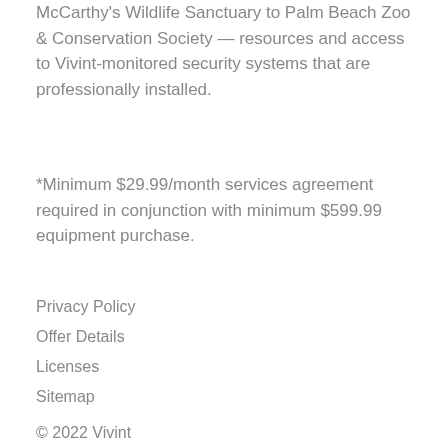McCarthy's Wildlife Sanctuary to Palm Beach Zoo & Conservation Society — resources and access to Vivint-monitored security systems that are professionally installed.
*Minimum $29.99/month services agreement required in conjunction with minimum $599.99 equipment purchase.
Privacy Policy
Offer Details
Licenses
Sitemap
© 2022 Vivint